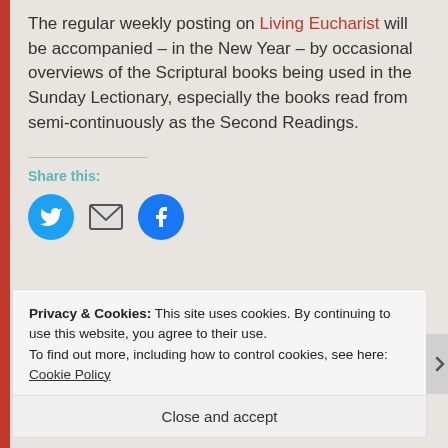The regular weekly posting on Living Eucharist will be accompanied – in the New Year – by occasional overviews of the Scriptural books being used in the Sunday Lectionary, especially the books read from semi-continuously as the Second Readings.
Share this:
[Figure (other): Social share icons: Twitter (blue circle with bird), Email (envelope), Facebook (blue circle with f)]
Privacy & Cookies: This site uses cookies. By continuing to use this website, you agree to their use. To find out more, including how to control cookies, see here: Cookie Policy
Close and accept